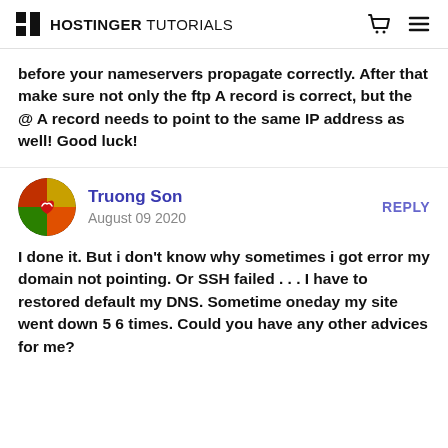HOSTINGER TUTORIALS
before your nameservers propagate correctly. After that make sure not only the ftp A record is correct, but the @ A record needs to point to the same IP address as well! Good luck!
Truong Son
August 09 2020
REPLY
I done it. But i don't know why sometimes i got error my domain not pointing. Or SSH failed . . . I have to restored default my DNS. Sometime oneday my site went down 5 6 times. Could you have any other advices for me?